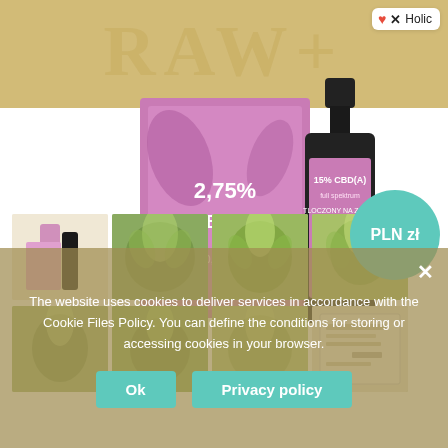[Figure (photo): E-commerce product page showing CBD oil product (RAW+ brand) with pink/purple packaging box labeled '2.75% CBD(A)' and '< 0.2% THC', and a dark glass bottle labeled '15% CBD(A) full spektrum tloczony na zimno olej konopny'. Gold/olive colored header bar with RAW watermark text. Teal circular price badge showing 'PLN zł'. Thumbnail gallery showing multiple images of hemp plants and product photos. Cookie consent overlay at bottom.]
The website uses cookies to deliver services in accordance with the Cookie Files Policy. You can define the conditions for storing or accessing cookies in your browser.
Ok
Privacy policy